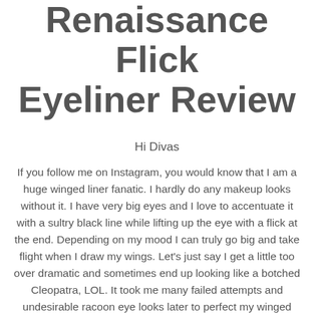Renaissance Flick Eyeliner Review
Hi Divas
If you follow me on Instagram, you would know that I am a huge winged liner fanatic. I hardly do any makeup looks without it. I have very big eyes and I love to accentuate it with a sultry black line while lifting up the eye with a flick at the end. Depending on my mood I can truly go big and take flight when I draw my wings. Let's just say I get a little too over dramatic and sometimes end up looking like a botched Cleopatra, LOL. It took me many failed attempts and undesirable racoon eye looks later to perfect my winged liner technique. As anyone who has ever tried it would know, drawing liquid liner on your eyes takes special precision, unwavering dedication to the black mess you just started and a prayer that everything would turn out right in the end. Due to this level of intensity, difficult though it may be...